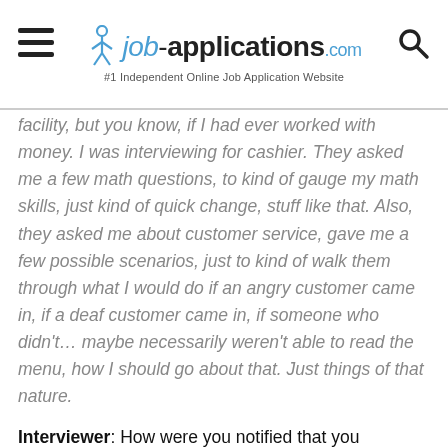job-applications.com — #1 Independent Online Job Application Website
facility, but you know, if I had ever worked with money. I was interviewing for cashier. They asked me a few math questions, to kind of gauge my math skills, just kind of quick change, stuff like that. Also, they asked me about customer service, gave me a few possible scenarios, just to kind of walk them through what I would do if an angry customer came in, if a deaf customer came in, if someone who didn't… maybe necessarily weren't able to read the menu, how I should go about that. Just things of that nature.
Interviewer: How were you notified that you received the job?
Taco Bell Cashier: Due to the fact that they were walk-in application interview, I actually found out that day. Then